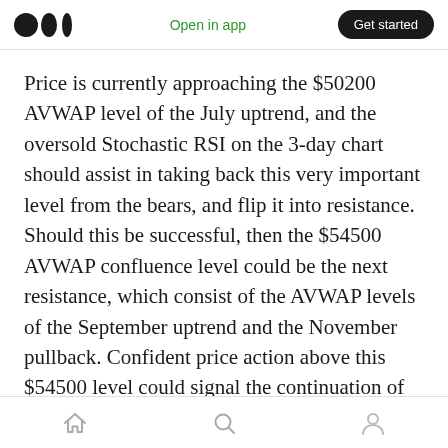Medium logo | Open in app | Get started
Price is currently approaching the $50200 AVWAP level of the July uptrend, and the oversold Stochastic RSI on the 3-day chart should assist in taking back this very important level from the bears, and flip it into resistance. Should this be successful, then the $54500 AVWAP confluence level could be the next resistance, which consist of the AVWAP levels of the September uptrend and the November pullback. Confident price action above this $54500 level could signal the continuation of the
Home | Search | Profile